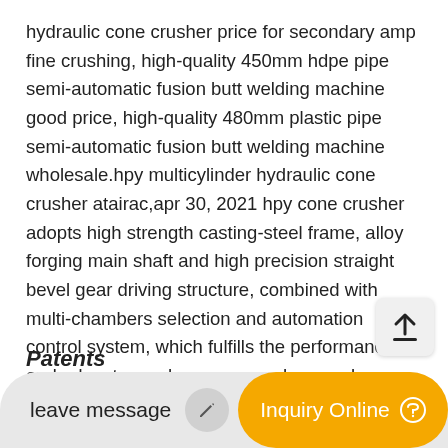hydraulic cone crusher price for secondary amp fine crushing, high-quality 450mm hdpe pipe semi-automatic fusion butt welding machine good price, high-quality 480mm plastic pipe semi-automatic fusion butt welding machine wholesale.hpy multicylinder hydraulic cone crusher atairac,apr 30, 2021 hpy cone crusher adopts high strength casting-steel frame, alloy forging main shaft and high precision straight bevel gear driving structure, combined with multi-chambers selection and automation control system, which fulfills the performance and advantages. hpy cone crusher can be widely used in secondary and fine crushing work for all kinds of hard materials and rocks to meet
Patents
leave message
Inquiry Online